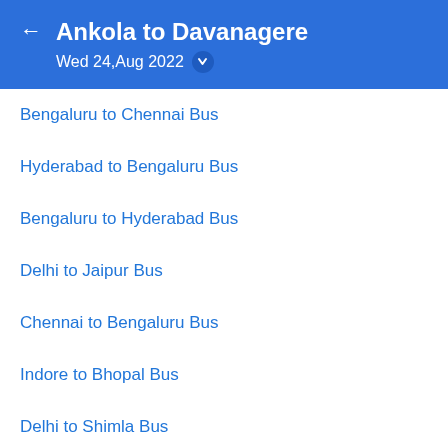Ankola to Davanagere
Wed 24,Aug 2022
Bengaluru to Chennai Bus
Hyderabad to Bengaluru Bus
Bengaluru to Hyderabad Bus
Delhi to Jaipur Bus
Chennai to Bengaluru Bus
Indore to Bhopal Bus
Delhi to Shimla Bus
Kolkata to Siliguri Bus
Bhopal to Indore Bus
Pune to Goa Bus
Mumbai to Pune Bus
Lucknow to Delhi Bus